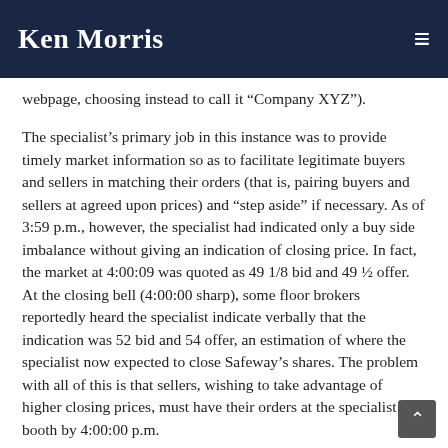Ken Morris
webpage, choosing instead to call it “Company XYZ”).
The specialist’s primary job in this instance was to provide timely market information so as to facilitate legitimate buyers and sellers in matching their orders (that is, pairing buyers and sellers at agreed upon prices) and “step aside” if necessary. As of 3:59 p.m., however, the specialist had indicated only a buy side imbalance without giving an indication of closing price. In fact, the market at 4:00:09 was quoted as 49 1/8 bid and 49 ½ offer. At the closing bell (4:00:00 sharp), some floor brokers reportedly heard the specialist indicate verbally that the indication was 52 bid and 54 offer, an estimation of where the specialist now expected to close Safeway’s shares. The problem with all of this is that sellers, wishing to take advantage of higher closing prices, must have their orders at the specialist’s booth by 4:00:00 p.m.